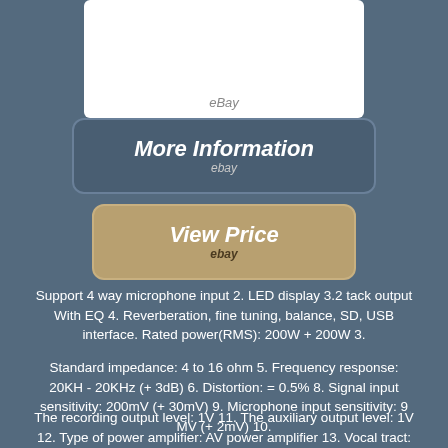[Figure (logo): eBay logo partial with red box graphic on white rounded rectangle background]
[Figure (other): More Information button with eBay branding on dark blue-grey rounded rectangle]
[Figure (other): View Price button with eBay branding on tan/gold rounded rectangle]
Support 4 way microphone input 2. LED display 3.2 tack output With EQ 4. Reverberation, fine tuning, balance, SD, USB interface. Rated power(RMS): 200W + 200W 3.
Standard impedance: 4 to 16 ohm 5. Frequency response: 20KH - 20KHz (+ 3dB) 6. Distortion: = 0.5% 8. Signal input sensitivity: 200mV (+ 30mV) 9. Microphone input sensitivity: 9 MV (+ 2mV) 10.
The recording output level: 1V 11. The auxiliary output level: 1V 12. Type of power amplifier: AV power amplifier 13. Vocal tract: 2 vocal tract 14. Support:USB Disk/Max 64GB SD Card(Not included)